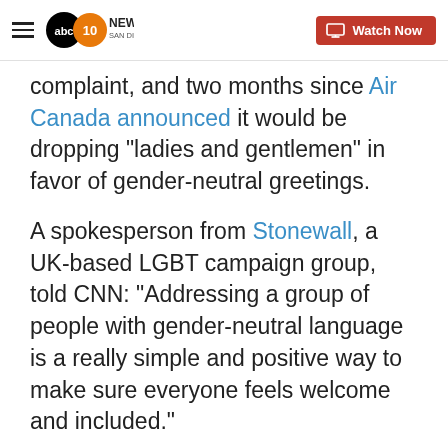10 News San Diego ABC - Watch Now
complaint, and two months since Air Canada announced it would be dropping "ladies and gentlemen" in favor of gender-neutral greetings.
A spokesperson from Stonewall, a UK-based LGBT campaign group, told CNN: "Addressing a group of people with gender-neutral language is a really simple and positive way to make sure everyone feels welcome and included."
Copyright 2019 Cable News Network, Inc., a Time Warner Company. All rights reserved.
Sign up for the Breaking News Newsletter and receive up to date information.